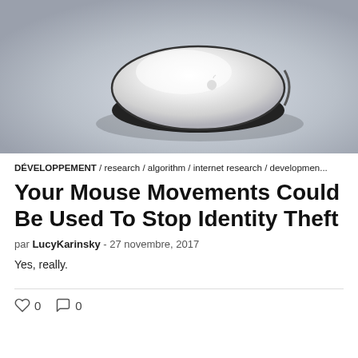[Figure (photo): An Apple Magic Mouse resting on a grey surface, photographed from above at an angle, showing its white curved top surface with Apple logo.]
DÉVELOPPEMENT / research / algorithm / internet research / developmen...
Your Mouse Movements Could Be Used To Stop Identity Theft
par LucyKarinsky - 27 novembre, 2017
Yes, really.
0  0